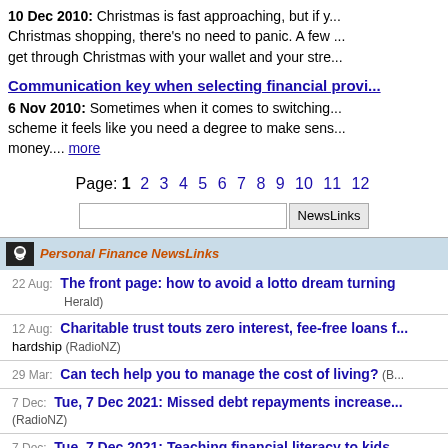10 Dec 2010: Christmas is fast approaching, but if you haven't started your Christmas shopping, there's no need to panic. A few tips to help you get through Christmas with your wallet and your stress levels intact...
Communication key when selecting financial provider
6 Nov 2010: Sometimes when it comes to switching KiwiSaver scheme it feels like you need a degree to make sense of it all and save money.... more
Page: 1 2 3 4 5 6 7 8 9 10 11 12
[Figure (screenshot): Search input box with NewsLinks button]
Personal Finance NewsLinks
22 Aug: The front page: how to avoid a lotto dream turning (NZ Herald)
12 Aug: Charitable trust touts zero interest, fee-free loans for hardship (RadioNZ)
29 Mar: Can tech help you to manage the cost of living? (B...)
7 Dec: Tue, 7 Dec 2021: Missed debt repayments increase (RadioNZ)
7 Dec: Tue, 7 Dec 2021: Teaching financial literacy to kids (Stuff.co.nz)
21 Sep: Tue, 21 Sep 2021: Claim that kiwis paying for pre-ripped off (Stuff.co.nz)